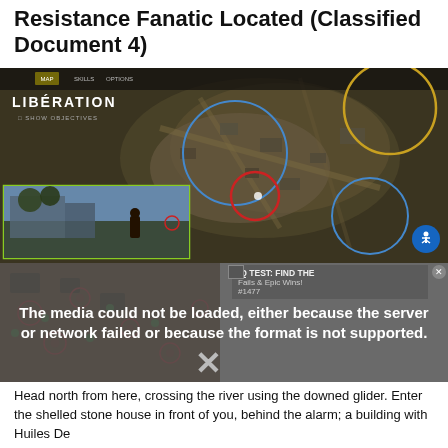Resistance Fanatic Located (Classified Document 4)
[Figure (screenshot): Game screenshot showing a top-down map view labeled LIBÉRATION with blue, red, and yellow circles marking locations, plus a smaller inset picture-in-picture showing a third-person view of a character near a building with a green border.]
[Figure (screenshot): Media error overlay reading 'The media could not be loaded, either because the server or network failed or because the format is not supported.' with an X mark and a partially visible ad overlay reading 'IQ TEST: FIND THE Fails & Epic Wins! #1477'. Below that is a game map view showing red circles on terrain.]
Head north from here, crossing the river using the downed glider. Enter the shelled stone house in front of you, behind the alarm; a building with Huiles De